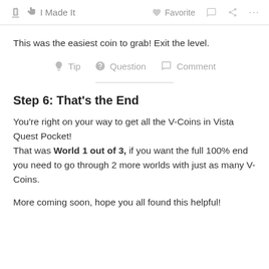✋ I Made It   ♥ Favorite  💬  ⋯
This was the easiest coin to grab! Exit the level.
Tip   Question   Comment
Step 6: That's the End
You're right on your way to get all the V-Coins in Vista Quest Pocket!
That was World 1 out of 3, if you want the full 100% end you need to go through 2 more worlds with just as many V-Coins.
More coming soon, hope you all found this helpful!